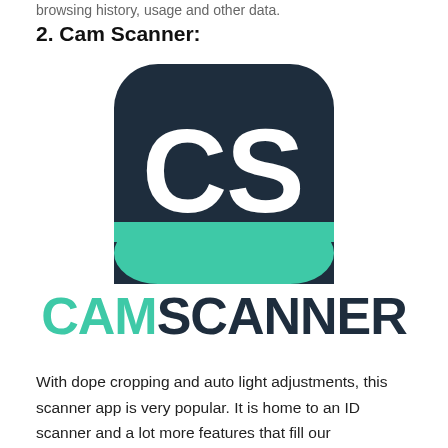browsing history, usage and other data.
2. Cam Scanner:
[Figure (logo): CamScanner app logo: dark navy rounded square icon with white 'CS' letters on top and a teal/green bottom band, with 'CAMSCANNER' text below in teal 'CAM' and dark navy 'SCANNER']
With dope cropping and auto light adjustments, this scanner app is very popular. It is home to an ID scanner and a lot more features that fill our